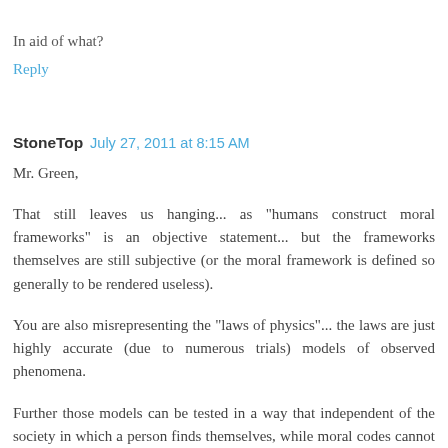In aid of what?
Reply
StoneTop  July 27, 2011 at 8:15 AM
Mr. Green,
That still leaves us hanging... as "humans construct moral frameworks" is an objective statement... but the frameworks themselves are still subjective (or the moral framework is defined so generally to be rendered useless).
You are also misrepresenting the "laws of physics"... the laws are just highly accurate (due to numerous trials) models of observed phenomena.
Further those models can be tested in a way that independent of the society in which a person finds themselves, while moral codes cannot similarity be tested: if I calculate the focal length of a lens and the Pope